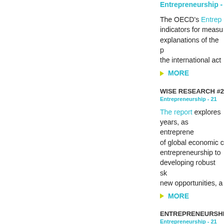Entrepreneurship - 21...
The OECD's Entrepreneurship indicators for measuring explanations of the p... the international act...
MORE
WISE RESEARCH #2
Entrepreneurship - 21
The report explores years, as entrepreneurs of global economic entrepreneurship to developing robust sk... new opportunities, a...
MORE
ENTREPRENEURSHI...
Entrepreneurship - 21
Why is entrepreneurship it in their school curr... How are teachers tr...